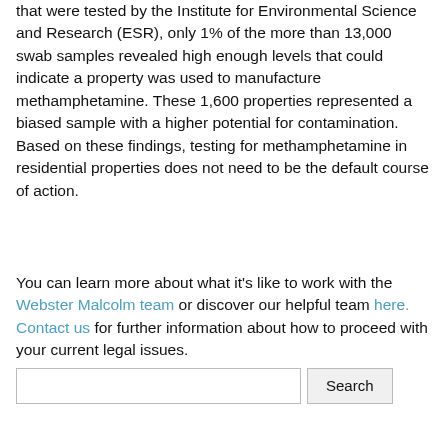properties suspected of being contaminated that were tested by the Institute for Environmental Science and Research (ESR), only 1% of the more than 13,000 swab samples revealed high enough levels that could indicate a property was used to manufacture methamphetamine. These 1,600 properties represented a biased sample with a higher potential for contamination. Based on these findings, testing for methamphetamine in residential properties does not need to be the default course of action.
You can learn more about what it's like to work with the Webster Malcolm team or discover our helpful team here. Contact us for further information about how to proceed with your current legal issues.